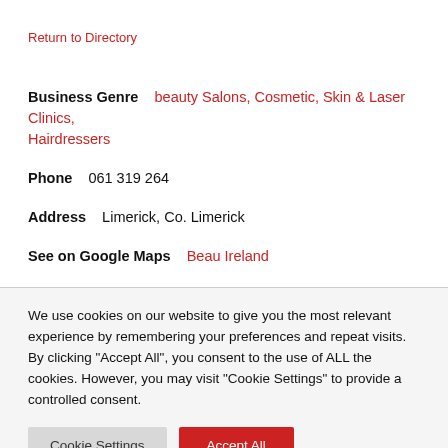Return to Directory
Business Genre   beauty Salons, Cosmetic, Skin & Laser Clinics, Hairdressers
Phone   061 319 264
Address   Limerick, Co. Limerick
See on Google Maps   Beau Ireland
We use cookies on our website to give you the most relevant experience by remembering your preferences and repeat visits. By clicking "Accept All", you consent to the use of ALL the cookies. However, you may visit "Cookie Settings" to provide a controlled consent.
Cookie Settings
Accept All